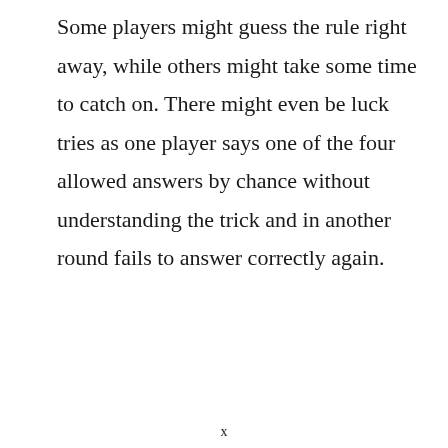Some players might guess the rule right away, while others might take some time to catch on. There might even be luck tries as one player says one of the four allowed answers by chance without understanding the trick and in another round fails to answer correctly again.
x